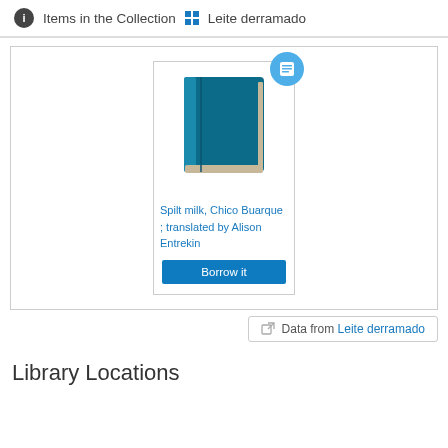Items in the Collection  Leite derramado
[Figure (illustration): Book card showing a teal book icon with a blue circular badge containing a document icon, titled 'Spilt milk, Chico Buarque ; translated by Alison Entrekin' with a 'Borrow it' button]
Spilt milk, Chico Buarque ; translated by Alison Entrekin
Data from Leite derramado
Library Locations